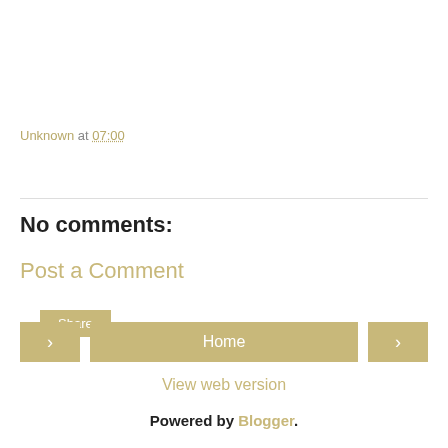Unknown at 07:00
Share
No comments:
Post a Comment
< Home >
View web version
Powered by Blogger.